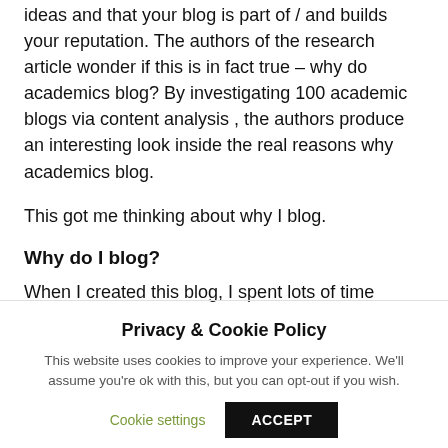ideas and that your blog is part of / and builds your reputation. The authors of the research article wonder if this is in fact true – why do academics blog? By investigating 100 academic blogs via content analysis , the authors produce an interesting look inside the real reasons why academics blog.
This got me thinking about why I blog.
Why do I blog?
When I created this blog, I spent lots of time working on who I
Privacy & Cookie Policy
This website uses cookies to improve your experience. We'll assume you're ok with this, but you can opt-out if you wish.
Cookie settings    ACCEPT